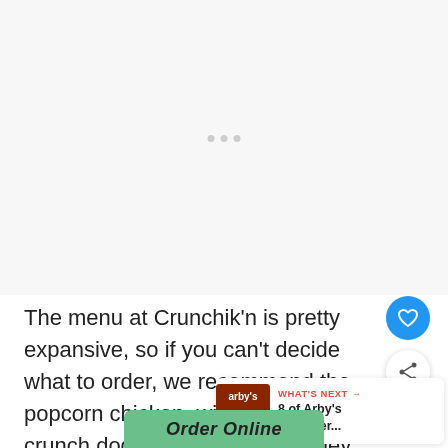[Figure (other): Advertisement/placeholder area with loading dots indicator]
The menu at Crunchik'n is pretty expansive, so if you can't decide what to order, we recommend the popcorn chicken, wings, cheese crunch dog, or a crunchbox. They also have plenty of vegetarian options!
[Figure (other): WHAT'S NEXT button with thumbnail image of Arby's restaurant and text '8 of Arby's Healthier...']
[Figure (other): Order Online green button at bottom of page]